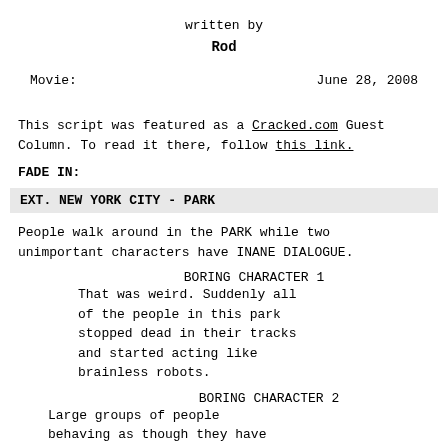written by
Rod
Movie:                                    June 28, 2008
This script was featured as a Cracked.com Guest Column. To read it there, follow this link.
FADE IN:
EXT. NEW YORK CITY - PARK
People walk around in the PARK while two unimportant characters have INANE DIALOGUE.
BORING CHARACTER 1
That was weird. Suddenly all of the people in this park stopped dead in their tracks and started acting like brainless robots.
BORING CHARACTER 2
Large groups of people behaving as though they have no personality whatsoever?
That was weird.